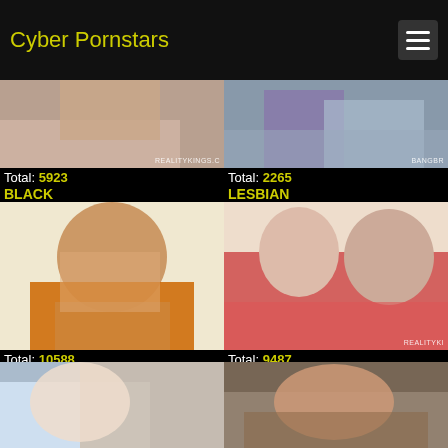Cyber Pornstars
[Figure (photo): Close-up photo with watermark REALITYKINGS.C]
Total: 5923
BLACK
[Figure (photo): Photo with watermark BANGBR]
Total: 2265
LESBIAN
[Figure (photo): Photo of woman in orange bikini]
Total: 10588
FACIAL
[Figure (photo): Photo of two women in red with watermark REALITYKI]
Total: 9487
BLOWJOBS
[Figure (photo): Photo of blonde woman]
[Figure (photo): Photo of redhead woman]